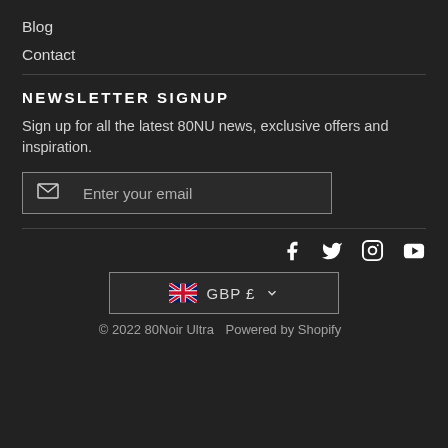Blog
Contact
NEWSLETTER SIGNUP
Sign up for all the latest 80NU news, exclusive offers and inspiration.
Enter your email
[Figure (other): Social media icons: Facebook, Twitter, Instagram, YouTube]
[Figure (other): Currency selector button showing UK flag and GBP £ with dropdown arrow]
© 2022 80Noir Ultra   Powered by Shopify